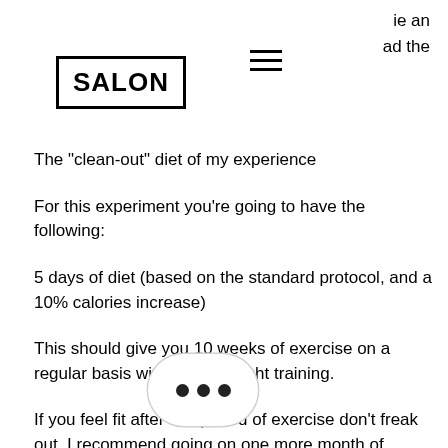ie an
ad the
[Figure (logo): SALON logo in bold text inside a rectangular border]
The "clean-out" diet of my experience
For this experiment you're going to have the following:
5 days of diet (based on the standard protocol, and a 10% calories increase)
This should give you 10 weeks of exercise on a regular basis with a little weight training.
If you feel fit after this period of exercise don't freak out. I recommend going on one more month of exercise per week after this 1  eks. This allows your muscle tissue to  te to the low calorie diet and the increased exercise capacity. Your goal